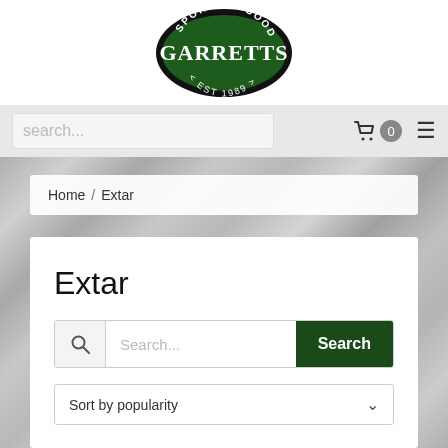[Figure (logo): Garretts Sporting Goods oval logo, dark green background with white text reading SPORTING GOODS, GARRETTS, EST 1989]
search...
🛒 0 ≡
Home / Extar
Extar
Search...
Sort by popularity